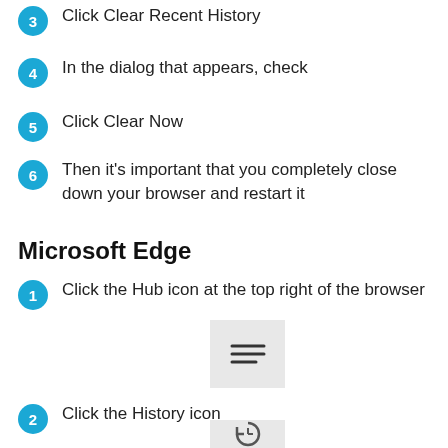3 Click Clear Recent History
4 In the dialog that appears, check
5 Click Clear Now
6 Then it's important that you completely close down your browser and restart it
Microsoft Edge
1 Click the Hub icon at the top right of the browser
[Figure (illustration): Icon showing three horizontal lines (hamburger/hub menu icon) in a light gray box]
2 Click the History icon
[Figure (illustration): Icon showing a clock with a circular arrow (history icon) in a light gray box]